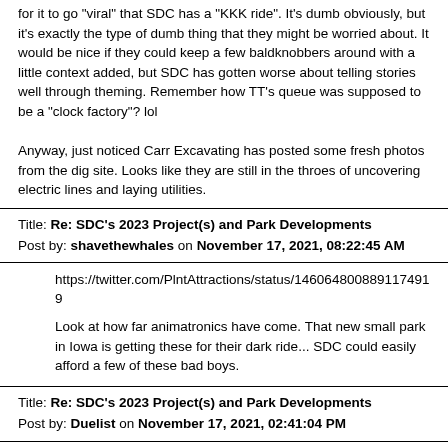for it to go "viral" that SDC has a "KKK ride". It's dumb obviously, but it's exactly the type of dumb thing that they might be worried about. It would be nice if they could keep a few baldknobbers around with a little context added, but SDC has gotten worse about telling stories well through theming. Remember how TT's queue was supposed to be a "clock factory"? lol

Anyway, just noticed Carr Excavating has posted some fresh photos from the dig site. Looks like they are still in the throes of uncovering electric lines and laying utilities.
Title: Re: SDC's 2023 Project(s) and Park Developments
Post by: shavethewhales on November 17, 2021, 08:22:45 AM
https://twitter.com/PlntAttractions/status/1460648008891174919
Look at how far animatronics have come. That new small park in Iowa is getting these for their dark ride... SDC could easily afford a few of these bad boys.
Title: Re: SDC's 2023 Project(s) and Park Developments
Post by: Duelist on November 17, 2021, 02:41:04 PM
^ That looks amazing!
Title: Re: SDC's 2023 Project(s) and Park Developments